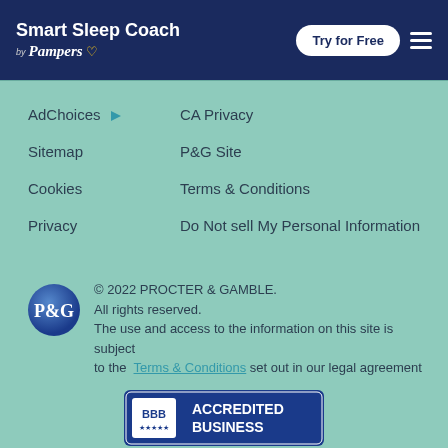Smart Sleep Coach by Pampers — Try for Free
AdChoices
CA Privacy
Sitemap
P&G Site
Cookies
Terms & Conditions
Privacy
Do Not sell My Personal Information
© 2022 PROCTER & GAMBLE. All rights reserved. The use and access to the information on this site is subject to the Terms & Conditions set out in our legal agreement
[Figure (logo): BBB Accredited Business badge with blue background]